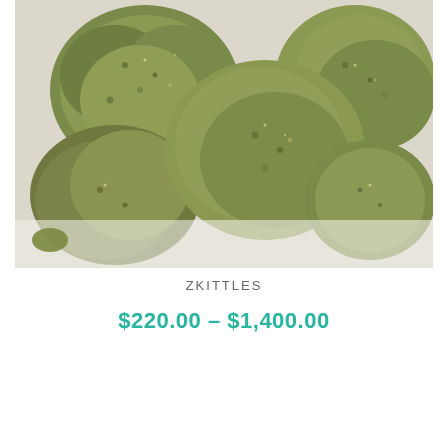[Figure (photo): Close-up photo of multiple green cannabis buds (Zkittles strain) on a white background. The buds are dense, olive-green colored with visible trichomes.]
ZKITTLES
$220.00 – $1,400.00